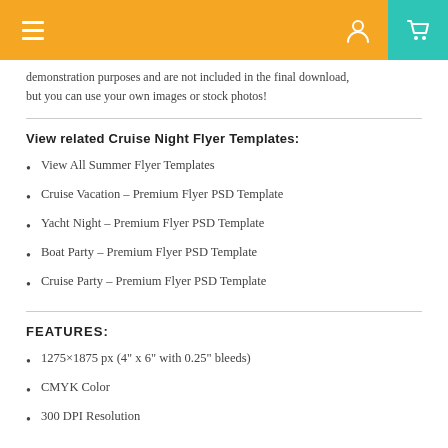Navigation header with hamburger menu, user icon, and cart icon
demonstration purposes and are not included in the final download, but you can use your own images or stock photos!
View related Cruise Night Flyer Templates:
View All Summer Flyer Templates
Cruise Vacation – Premium Flyer PSD Template
Yacht Night – Premium Flyer PSD Template
Boat Party – Premium Flyer PSD Template
Cruise Party – Premium Flyer PSD Template
FEATURES:
1275×1875 px (4" x 6" with 0.25" bleeds)
CMYK Color
300 DPI Resolution